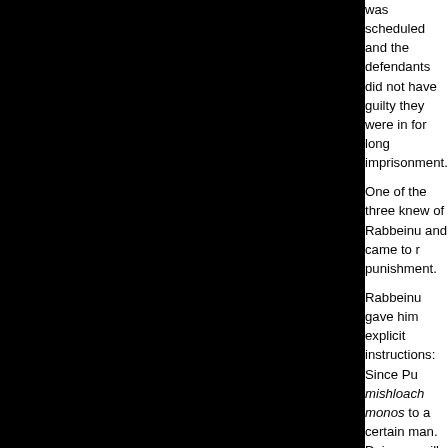was scheduled and the defendants did not have [to plead]. If found guilty they were in for long imprisonment.
One of the three knew of Rabbeinu and came to request help to avoid punishment.
Rabbeinu gave him explicit instructions: Since Purim is approaching, send mishloach monos to a certain man. Doing so will help you avoid imprisonment.
The man's countenance changed and he blanched...
"Rebbe," he implored, "I'll do anything you say, just not that! He reported us to the authorities."
The Rebbe, however, was adamant, "You may do as you please, but carry out my instructions to the letter."
Purim came and the Yid was in a quandary. As the day progressed, with time left to do as the Rebbe had bidden. Downing his pride and overcoming his feelings, he set off, basket in hand in the direction of... Placing the 'peace offering' on the table, the two of them drank l'chaim in a brotherly spirit.
A month later when the court case took place, the other two accused Jews were found guilty and convicted, whereas our man was declared innocent and set free!
***